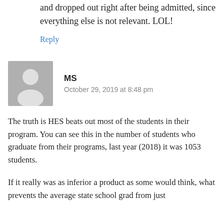and dropped out right after being admitted, since everything else is not relevant. LOL!
Reply
MS
October 29, 2019 at 8:48 pm
The truth is HES beats out most of the students in their program. You can see this in the number of students who graduate from their programs, last year (2018) it was 1053 students.
If it really was as inferior a product as some would think, what prevents the average state school grad from just